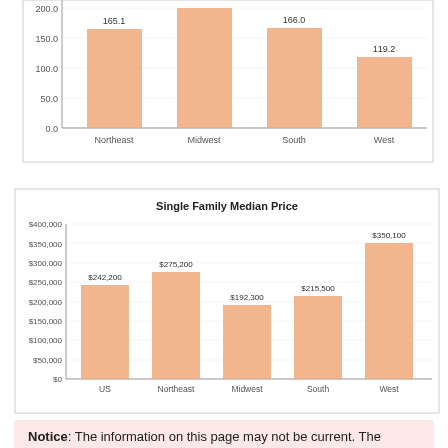[Figure (bar-chart): ]
[Figure (bar-chart): Single Family Median Price]
Notice: The information on this page may not be current. The archive is a collection of content